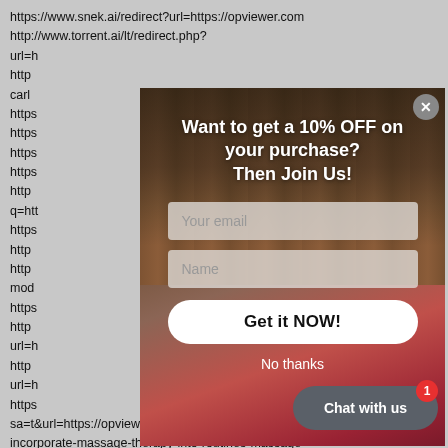https://www.snek.ai/redirect?url=https://opviewer.com
http://www.torrent.ai/lt/redirect.php?
url=h...
http...
carlo...
https...
https...
https...
https...
http...
q=htt...
https...
http...
http...
mod...
https...
http...
url=h...
http...
url=h...
https...
sa=t&url=https://opviewer.com/basic-ways-to-incorporate-massage-therapy-into-routines-massage-
[Figure (screenshot): A popup/modal dialog overlaying a webpage with a list of URLs. The modal has a dark wood-paneled background with a woman in a colorful dress. Text reads: 'Want to get a 10% OFF on your purchase? Then Join Us!' with email and name input fields and a 'Get it NOW!' button. Below is 'No thanks' text. A 'Chat with us' button with badge '1' appears at bottom right.]